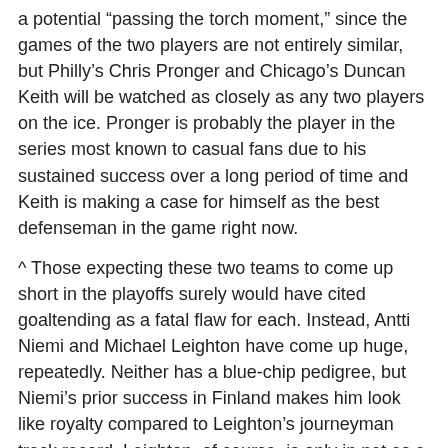a potential "passing the torch moment," since the games of the two players are not entirely similar, but Philly's Chris Pronger and Chicago's Duncan Keith will be watched as closely as any two players on the ice. Pronger is probably the player in the series most known to casual fans due to his sustained success over a long period of time and Keith is making a case for himself as the best defenseman in the game right now.
^ Those expecting these two teams to come up short in the playoffs surely would have cited goaltending as a fatal flaw for each. Instead, Antti Niemi and Michael Leighton have come up huge, repeatedly. Neither has a blue-chip pedigree, but Niemi's prior success in Finland makes him look like royalty compared to Leighton's journeyman track record. Leighton, of course, is only in net as a type of historical accident, with injuries having previously sidelined Ray Emery and Brian Boucher. Again, while neither goalie comes in with the mark of a purebred, a title for Philly would be an enormous historical oddity inasmuch as the winning goalie has rarely if ever had a resume as underwhelming as Leighton's.